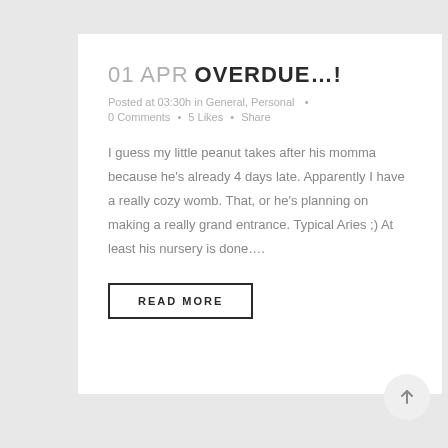01 APR OVERDUE…!
Posted at 03:30h in General, Personal  •  0 Comments  •  5 Likes  •  Share
I guess my little peanut takes after his momma because he's already 4 days late. Apparently I have a really cozy womb. That, or he's planning on making a really grand entrance. Typical Aries ;) At least his nursery is done….
READ MORE